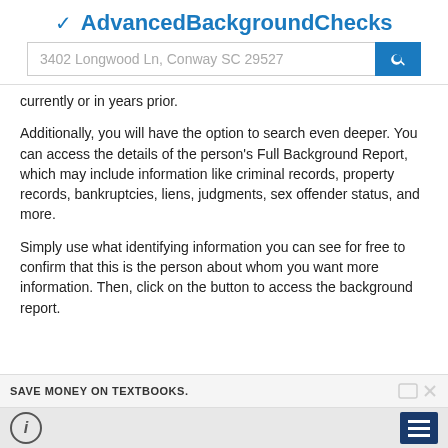✔ AdvancedBackgroundChecks
3402 Longwood Ln, Conway SC 29527
currently or in years prior.
Additionally, you will have the option to search even deeper. You can access the details of the person's Full Background Report, which may include information like criminal records, property records, bankruptcies, liens, judgments, sex offender status, and more.
Simply use what identifying information you can see for free to confirm that this is the person about whom you want more information. Then, click on the button to access the background report.
[Figure (screenshot): Advertisement banner: SAVE MONEY ON TEXTBOOKS.]
info icon and menu button